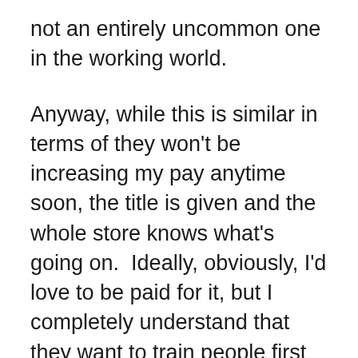not an entirely uncommon one in the working world.
Anyway, while this is similar in terms of they won't be increasing my pay anytime soon, the title is given and the whole store knows what's going on.  Ideally, obviously, I'd love to be paid for it, but I completely understand that they want to train people first and make sure they'll do well before anything is set in stone.  Either way, I feel much more comfortable with this scenario.  I also feel like, in general, I get a lot of recognition in store.  I touched on this back in my last post, but that was only a small taste of what I get